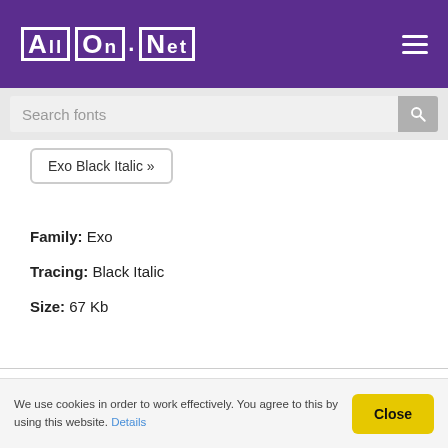AllFont.net — navigation header with logo and hamburger menu
Search fonts
Exo Black Italic »
Family: Exo
Tracing: Black Italic
Size: 67 Kb
[Figure (illustration): Font preview box showing 'AllFont.net' rendered in a large bold italic serif-style font]
We use cookies in order to work effectively. You agree to this by using this website. Details   Close